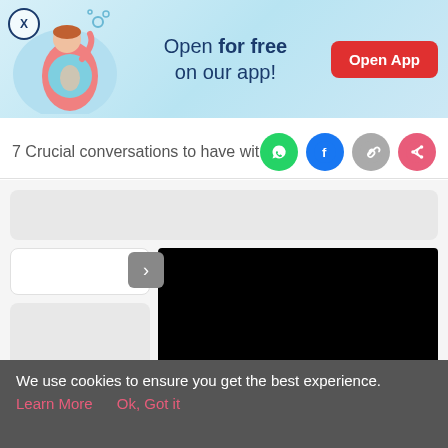[Figure (screenshot): App promotional banner with illustration of pregnant woman, text 'Open for free on our app!' and red 'Open App' button]
7 Crucial conversations to have with y
[Figure (screenshot): Social share icons: WhatsApp (green), Facebook (navy), link (gray), share (red-pink)]
[Figure (screenshot): Content area with light gray top bar, white card on left, black video/image block on right, and a gray carousel arrow button]
[Figure (screenshot): Bottom navigation bar with Tools, Articles, center pink pregnant woman icon, Feed, and Poll icons]
We use cookies to ensure you get the best experience.
Learn More    Ok, Got it